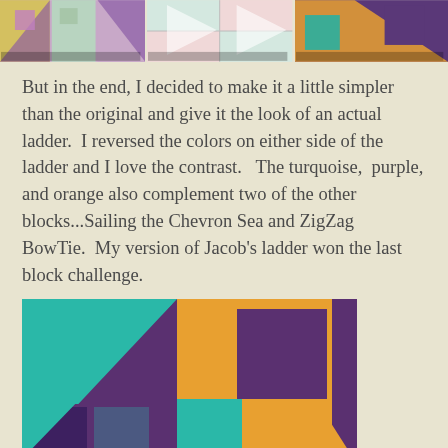[Figure (photo): Three quilt block thumbnail photos arranged in a horizontal strip at the top of the page showing colorful geometric quilt patterns]
But in the end, I decided to make it a little simpler than the original and give it the look of an actual ladder.  I reversed the colors on either side of the ladder and I love the contrast.   The turquoise,  purple,  and orange also complement two of the other blocks...Sailing the Chevron Sea and ZigZag BowTie.  My version of Jacob's ladder won the last block challenge.
[Figure (photo): A quilt block photo showing a geometric pattern with teal/turquoise triangles and rectangles on a purple background with orange diagonal stripe elements]